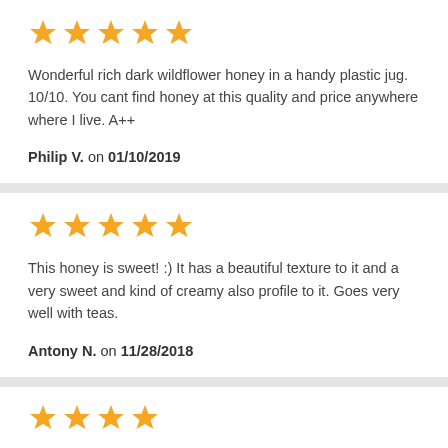[Figure (other): 5 gold stars rating]
Wonderful rich dark wildflower honey in a handy plastic jug. 10/10. You cant find honey at this quality and price anywhere where I live. A++
Philip V. on 01/10/2019
[Figure (other): 5 gold stars rating]
This honey is sweet! :) It has a beautiful texture to it and a very sweet and kind of creamy also profile to it. Goes very well with teas.
Antony N. on 11/28/2018
[Figure (other): 4 gold stars rating (partial view)]